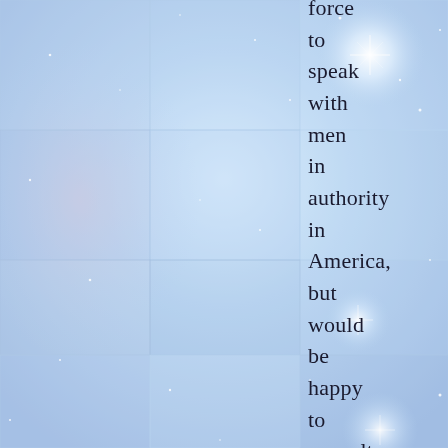[Figure (illustration): Light blue starry sky background with grid-like overlay of lighter and darker blue rectangular patches, bright white star/light flares visible in upper right and middle right areas]
force to speak with men in authority in America, but would be happy to consult with them at their invitation, he further